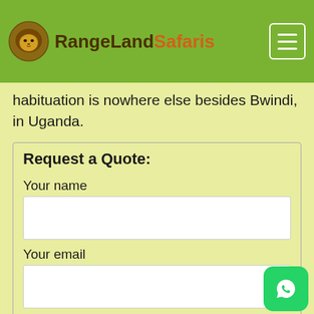RangeLand Safaris
habituation is nowhere else besides Bwindi, in Uganda.
Request a Quote:
Your name
Your email
Your Nationality